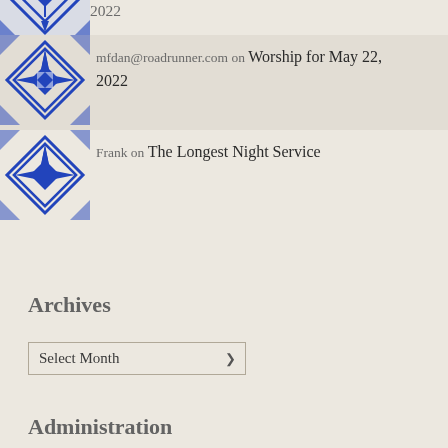mfdan@roadrunner.com on Worship for May 22, 2022
Frank on The Longest Night Service
Archives
Select Month
Administration
Register
Log in
Entries feed
Comments feed